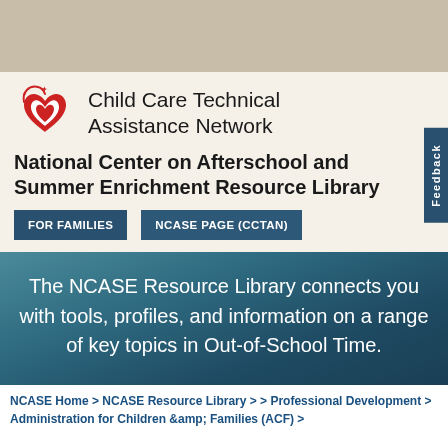[Figure (logo): Child Care Technical Assistance Network logo with red heart swirl and stars, next to organization name text]
National Center on Afterschool and Summer Enrichment Resource Library
FOR FAMILIES | NCASE PAGE (CCTAN)
Feedback
The NCASE Resource Library connects you with tools, profiles, and information on a range of key topics in Out-of-School Time.
NCASE Home > NCASE Resource Library > > Professional Development > Administration for Children &amp; Families (ACF) >